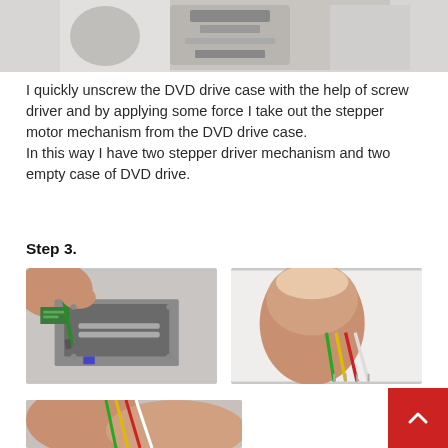[Figure (photo): Top portion of a DVD drive stepper motor mechanism, partially cropped]
I quickly unscrew the DVD drive case with the help of screw driver and by applying some force I take out the stepper motor mechanism from the DVD drive case.
In this way I have two stepper driver mechanism and two empty case of DVD drive.
Step 3.
[Figure (photo): Close-up of a person using a screwdriver on a DVD drive stepper motor mechanism]
[Figure (photo): Hand holding colorful wires (green, yellow, red, white) stripped at the tips]
[Figure (photo): Partial view of hands working with wires and components, bottom of page]